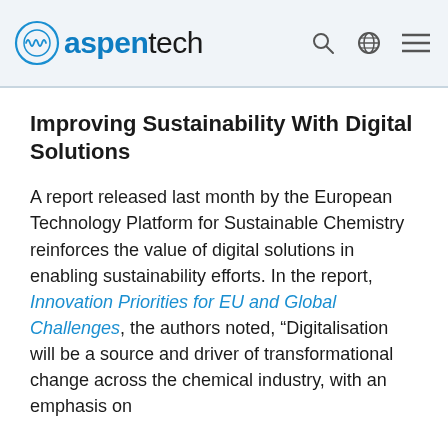aspentech [logo with search, globe, and menu icons]
Improving Sustainability With Digital Solutions
A report released last month by the European Technology Platform for Sustainable Chemistry reinforces the value of digital solutions in enabling sustainability efforts. In the report, Innovation Priorities for EU and Global Challenges, the authors noted, “Digitalisation will be a source and driver of transformational change across the chemical industry, with an emphasis on